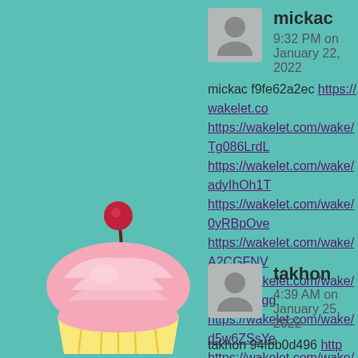mickac
9:32 PM on January 22, 2022
mickac f9fe62a2ec https://wakelet.co... https://wakelet.com/wake/Tg086LrdL... https://wakelet.com/wake/adyIhOh1T... https://wakelet.com/wake/0yRBpOve... https://wakelet.com/wake/A2CGFNV... https://wakelet.com/wake/0yR9OZcgg... https://wakelet.com/wake/d5w6ZSsYe... https://wakelet.com/wake/9dOPfvE7C... https://wakelet.com/wake/OO4spFRlB... https://wakelet.com/wake/6Nu72md4-...
takhon
4:39 AM on January 25, 2022
takhon 94fbb0d496 https://coub.com/... components-for-ep ub-yanhal https://coub.com/stories/3074151-bar...
[Figure (illustration): Cupcake illustration with pink frosting and cherry on top]